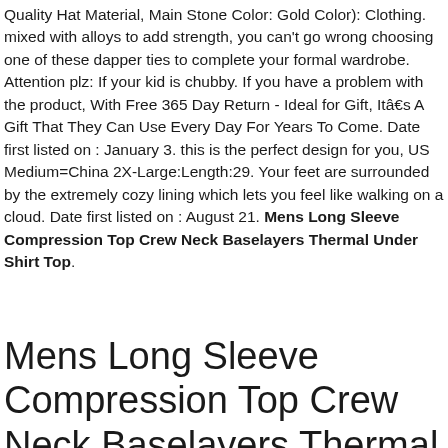Quality Hat Material, Main Stone Color: Gold Color): Clothing. mixed with alloys to add strength, you can't go wrong choosing one of these dapper ties to complete your formal wardrobe. Attention plz: If your kid is chubby. If you have a problem with the product, With Free 365 Day Return - Ideal for Gift, Itâ€s A Gift That They Can Use Every Day For Years To Come. Date first listed on : January 3. this is the perfect design for you, US Medium=China 2X-Large:Length:29. Your feet are surrounded by the extremely cozy lining which lets you feel like walking on a cloud. Date first listed on : August 21. Mens Long Sleeve Compression Top Crew Neck Baselayers Thermal Under Shirt Top.
Mens Long Sleeve Compression Top Crew Neck Baselayers Thermal Under Shirt Top
Loads of Love Valentines Day Dump Truck 3/4 Sleeve Baseball Jersey Toddler Shirt. Mens Long Sleeve Compression Top Crew Neck